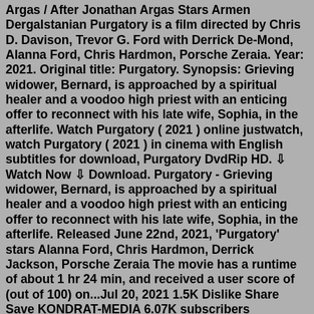Argas / After Jonathan Argas Stars Armen Dergalstanian Purgatory is a film directed by Chris D. Davison, Trevor G. Ford with Derrick De-Mond, Alanna Ford, Chris Hardmon, Porsche Zeraia. Year: 2021. Original title: Purgatory. Synopsis: Grieving widower, Bernard, is approached by a spiritual healer and a voodoo high priest with an enticing offer to reconnect with his late wife, Sophia, in the afterlife. Watch Purgatory ( 2021 ) online justwatch, watch Purgatory ( 2021 ) in cinema with English subtitles for download, Purgatory DvdRip HD. ⬇ Watch Now ⬇ Download. Purgatory - Grieving widower, Bernard, is approached by a spiritual healer and a voodoo high priest with an enticing offer to reconnect with his late wife, Sophia, in the afterlife. Released June 22nd, 2021, 'Purgatory' stars Alanna Ford, Chris Hardmon, Derrick Jackson, Porsche Zeraia The movie has a runtime of about 1 hr 24 min, and received a user score of (out of 100) on...Jul 20, 2021 1.5K Dislike Share Save KONDRAT-MEDIA 6.07K subscribers Subscribe Watch online or buy DVD on: